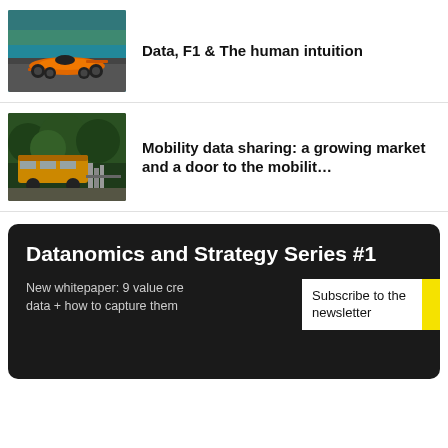[Figure (photo): Orange F1 racing car on track]
Data, F1 & The human intuition
[Figure (photo): Bus and bicycles/mobility equipment in outdoor setting]
Mobility data sharing: a growing market and a door to the mobilit…
Datanomics and Strategy Series #1
New whitepaper: 9 value cre data + how to capture them
Subscribe to the newsletter